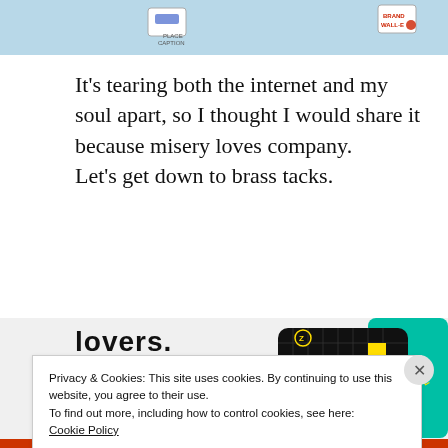[Figure (screenshot): Top portion of a webpage screenshot showing a light blue background with small logos/icons at left and right edges (appears to be a network or flow diagram fragment).]
It's tearing both the internet and my soul apart, so I thought I would share it because misery loves company.
Let's get down to brass tacks.
[Figure (screenshot): Advertisement banner showing partial bold text 'lovers.' in black, a red 'Download now' link, and a black card with grid pattern labeled '99% INVISIBLE' with a yellow square, alongside a teal card edge.]
Privacy & Cookies: This site uses cookies. By continuing to use this website, you agree to their use.
To find out more, including how to control cookies, see here:
Cookie Policy
Close and accept